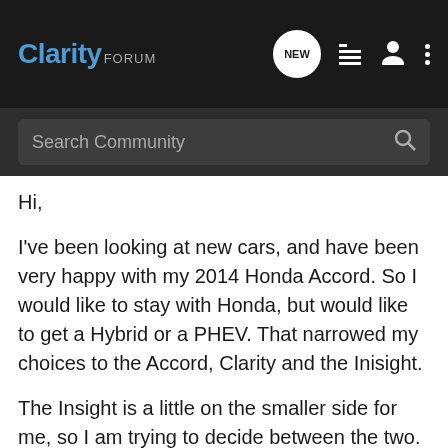Clarity FORUM
Search Community
Hi,
I've been looking at new cars, and have been very happy with my 2014 Honda Accord. So I would like to stay with Honda, but would like to get a Hybrid or a PHEV. That narrowed my choices to the Accord, Clarity and the Inisight.
The Insight is a little on the smaller side for me, so I am trying to decide between the two. My daily commute to work is about 20 miles round trip along back roads. Also, my wife is currently living in a town about 180 miles away, and will be there for another two years. So i end up driving there atleast twice a month. The clarity makes great sense for my local commute but i am not a huge fan of the 7gallon gas tank and ~300mile range. While the Accord Hybrid on the otherhand would give